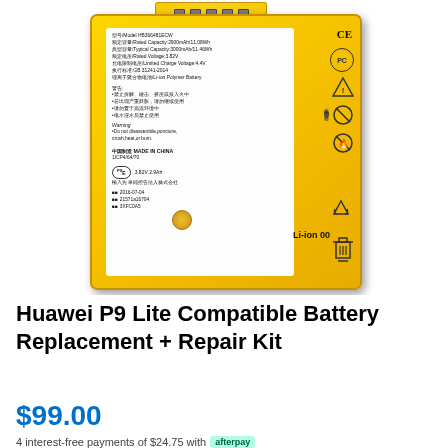[Figure (photo): Photograph of a Huawei P9 Lite Li-ion Polymer replacement battery (Model HB366481ECW) showing the yellow battery body with white label. Label shows: Model HB366481ECW, Rated Capacity 2900mAh/11.08Wh, Typical Capacity 3000mAh/11.46Wh, Rated Voltage 3.82V, Limited Charge Voltage 4.4V, GB 31241-2014, Li-ion Polymer Battery, warnings in Chinese and English, MADE IN CHINA, 1ICP4/64/70, PS/E mark, 3.82V 2.9Ah, date 2016-07-04, batch 215741 6704, Li-ion 00 mark, and various safety certification symbols including CE, recycling symbol, and WEEE symbol.]
Huawei P9 Lite Compatible Battery Replacement + Repair Kit
$99.00
4 interest-free payments of $24.75 with Afterpay